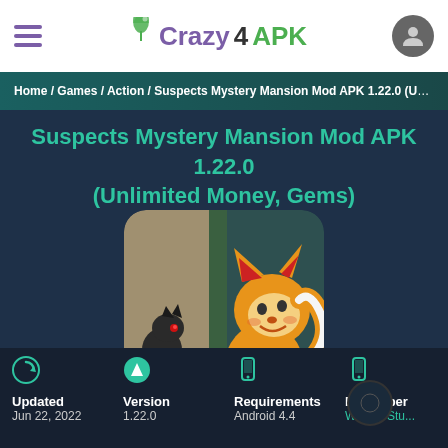Crazy4APK
Home / Games / Action / Suspects Mystery Mansion Mod APK 1.22.0 (Unli...
Suspects Mystery Mansion Mod APK 1.22.0 (Unlimited Money, Gems)
[Figure (illustration): Game icon showing a cartoon fox character and a dark creature in a mansion setting]
Updated
Jun 22, 2022
Version
1.22.0
Requirements
Android 4.4
Developer
Wildlife Stu...